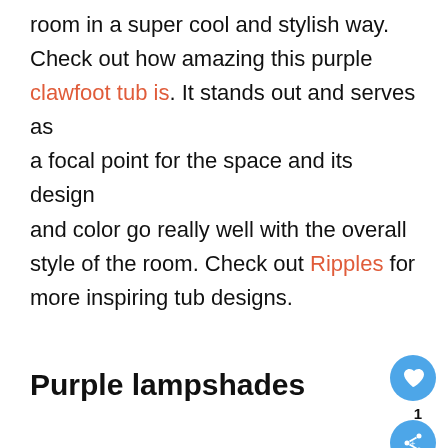room in a super cool and stylish way. Check out how amazing this purple clawfoot tub is. It stands out and serves as a focal point for the space and its design and color go really well with the overall style of the room. Check out Ripples for more inspiring tub designs.
Purple lampshades
[Figure (photo): Interior room photo showing framed artwork on a dark wall and large windows with blue sky visible, with a purple lampshade partially visible on the right]